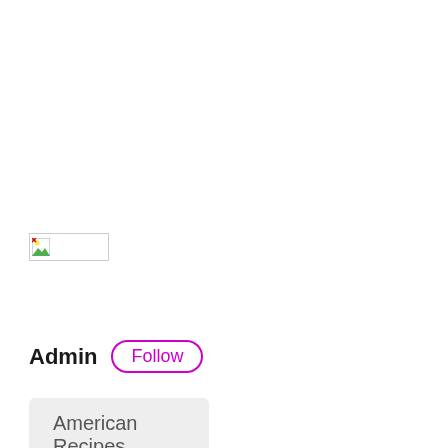[Figure (illustration): Small image placeholder with a broken image icon (green and white) inside a rectangular border]
Admin Follow
American Recipes